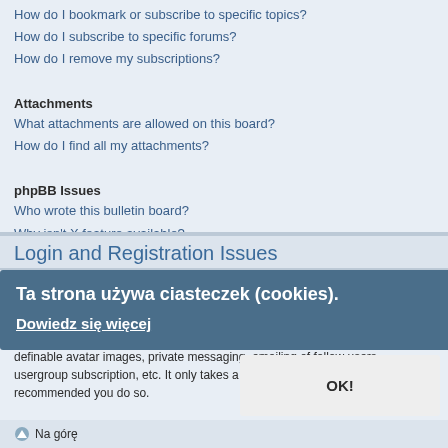How do I bookmark or subscribe to specific topics?
How do I subscribe to specific forums?
How do I remove my subscriptions?
Attachments
What attachments are allowed on this board?
How do I find all my attachments?
phpBB Issues
Who wrote this bulletin board?
Why isn't X feature available?
Who do I contact about abusive and/or legal matters related to this board?
How do I contact a board administrator?
Login and Registration Issues
Why do I need to register?
You may not have to, it is up to the administrator of the board as to whether you need to register in order to post messages. However, registration will give you access to additional features not available to guest users such as definable avatar images, private messaging, emailing of fellow users, usergroup subscription, etc. It only takes a few moments to register so it is recommended you do so.
Ta strona używa ciasteczek (cookies).
Dowiedz się więcej
OK!
Na górę